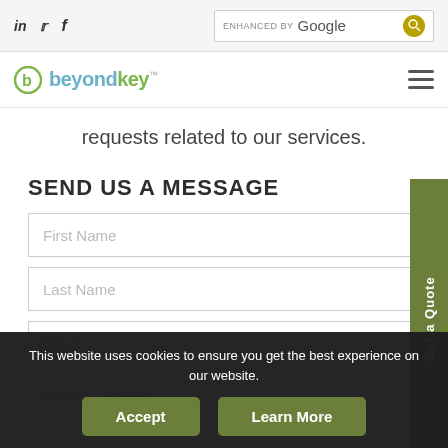beyondkey™ — navigation bar with social icons (LinkedIn, Twitter, Facebook), Google search box, and hamburger menu
requests related to our services.
SEND US A MESSAGE
First Name
Last Name
Email
Contact Number
This website uses cookies to ensure you get the best experience on our website.
Accept
Learn More